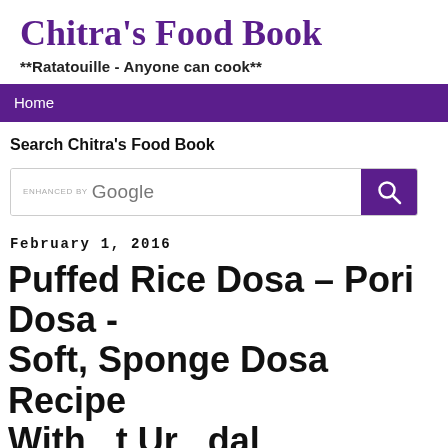Chitra's Food Book
**Ratatouille - Anyone can cook**
Home
Search Chitra's Food Book
February 1, 2016
Puffed Rice Dosa – Pori Dosa - Soft, Sponge Dosa Recipe